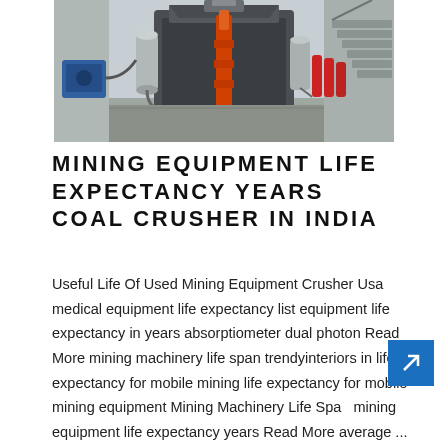[Figure (photo): Industrial mining crusher equipment in a facility, showing large machinery with hydraulic components, a blue motor, orange hydraulic pole, silver tanks, and metal staircase in background.]
MINING EQUIPMENT LIFE EXPECTANCY YEARS COAL CRUSHER IN INDIA
Useful Life Of Used Mining Equipment Crusher Usa medical equipment life expectancy list equipment life expectancy in years absorptiometer dual photon Read More mining machinery life span trendyinteriors in life expectancy for mobile mining life expectancy for mobile mining equipment Mining Machinery Life Span mining equipment life expectancy years Read More average ...